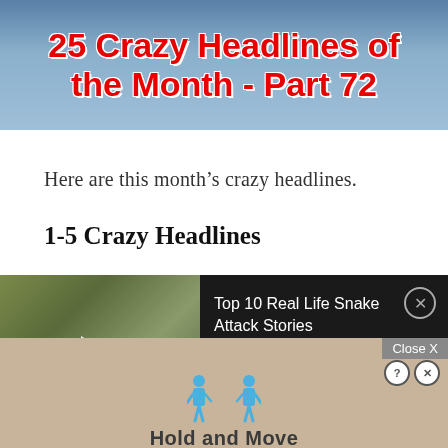[Figure (screenshot): Banner image with blue background showing partial title text '25 Crazy Headlines of the Month - Part 72' in red bold text with white outline]
Here are this month's crazy headlines.
1-5 Crazy Headlines
[Figure (screenshot): Video widget showing a man holding a large snake with Mojo logo badge, play button, and title 'Top 10 Real Life Snake Attack Stories' on dark background with close X button]
[Figure (screenshot): Advertisement banner with tan/sandy background showing two blue stick figure icons and text 'Hold and Move', with Close X and help/close icons]